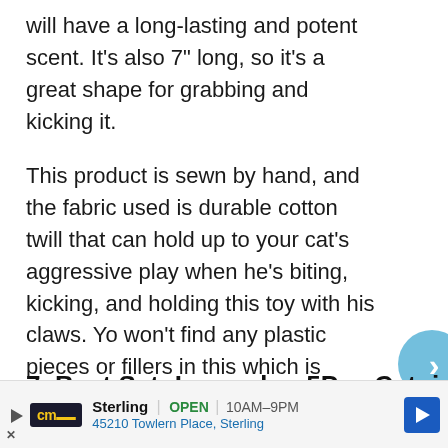will have a long-lasting and potent scent. It's also 7" long, so it's a great shape for grabbing and kicking it.
This product is sewn by hand, and the fabric used is durable cotton twill that can hold up to your cat's aggressive play when he's biting, kicking, and holding this toy with his claws. You won't find any plastic pieces or fillers in this which is made in the USA, and it is colored using soy based or vegetable dyes.
7. Best Set: Legendog 5Pcs Catnip Toy